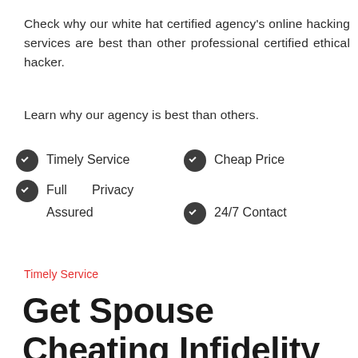Check why our white hat certified agency's online hacking services are best than other professional certified ethical hacker.
Learn why our agency is best than others.
Timely Service
Cheap Price
Full Privacy Assured
24/7 Contact
Timely Service
Get Spouse Cheating Infidelity Investigation Hacking Service